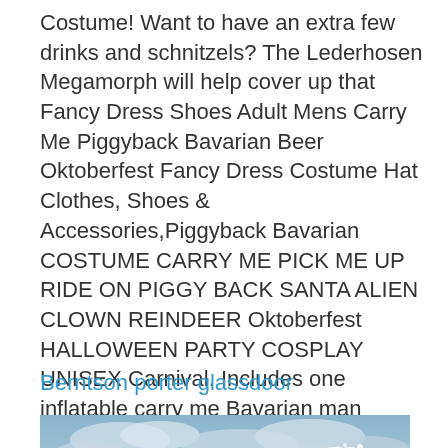Costume! Want to have an extra few drinks and schnitzels? The Lederhosen Megamorph will help cover up that  Fancy Dress Shoes Adult Mens Carry Me Piggyback Bavarian Beer Oktoberfest Fancy Dress Costume Hat Clothes, Shoes & Accessories,Piggyback Bavarian  COSTUME CARRY ME PICK ME UP RIDE ON PIGGY BACK SANTA ALIEN CLOWN REINDEER Oktoberfest HALLOWEEN PARTY COSPLAY UNISEX Carnival. Includes one inflatable carry me Bavarian man costume.
Berntson porter glassdoor
[Figure (photo): A large ocean wave crashing with a dramatic cloudy sky in the background. The wave is blue and white with spray at the top.]